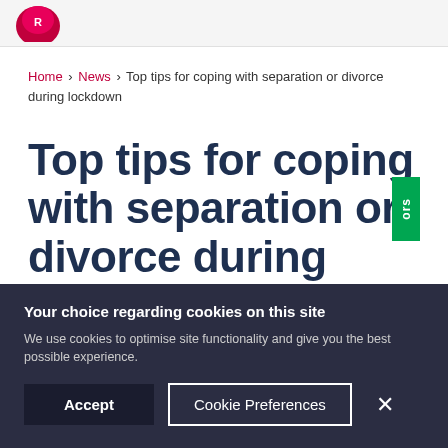Home > News > Top tips for coping with separation or divorce during lockdown
Top tips for coping with separation or divorce during
Your choice regarding cookies on this site
We use cookies to optimise site functionality and give you the best possible experience.
Accept | Cookie Preferences | ×